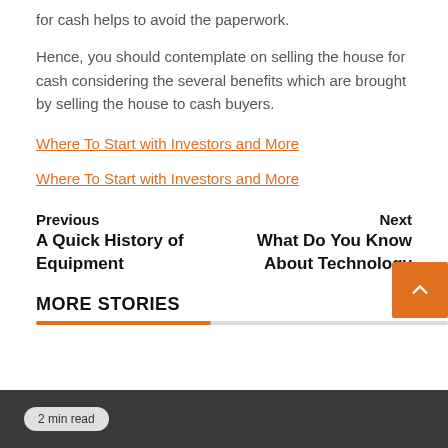for cash helps to avoid the paperwork.
Hence, you should contemplate on selling the house for cash considering the several benefits which are brought by selling the house to cash buyers.
Where To Start with Investors and More
Where To Start with Investors and More
Previous
A Quick History of Equipment
Next
What Do You Know About Technology
MORE STORIES
2 min read